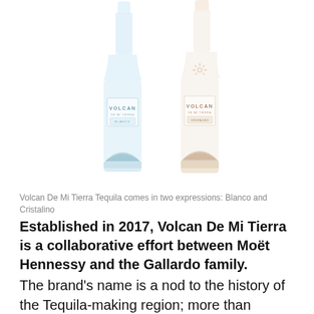[Figure (photo): Two Volcan De Mi Tierra tequila bottles side by side. Left bottle is Blanco (clear/light blue tint), right bottle is Cristalino (clear with subtle warm tint). Both bottles show the VOLCAN DE MI TIERRA label with a volcano motif at the base.]
Volcan De Mi Tierra Tequila comes in two expressions: Blanco and Cristalino
Established in 2017, Volcan De Mi Tierra is a collaborative effort between Moët Hennessy and the Gallardo family.
The brand's name is a nod to the history of the Tequila-making region; more than 200,000 years ago, a volcano, called Tequila, erupted and created the fertile soil of the Jalisco region in Mexico.